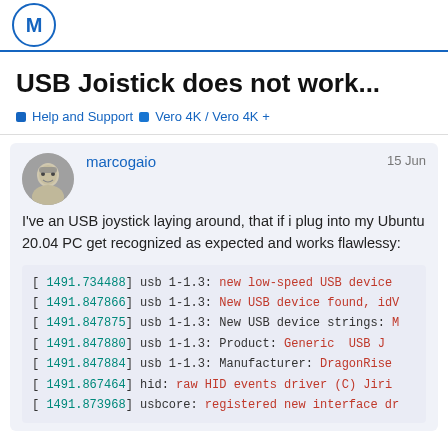M (logo)
USB Joistick does not work...
Help and Support  Vero 4K / Vero 4K +
marcogaio  15 Jun
I've an USB joystick laying around, that if i plug into my Ubuntu 20.04 PC get recognized as expected and works flawlessy:
[ 1491.734488] usb 1-1.3: new low-speed USB device
[ 1491.847866] usb 1-1.3: New USB device found, idV
[ 1491.847875] usb 1-1.3: New USB device strings: M
[ 1491.847880] usb 1-1.3: Product: Generic  USB J
[ 1491.847884] usb 1-1.3: Manufacturer: DragonRise
[ 1491.867464] hid: raw HID events driver (C) Jiri
[ 1491.873968] usbcore: registered new interface dr